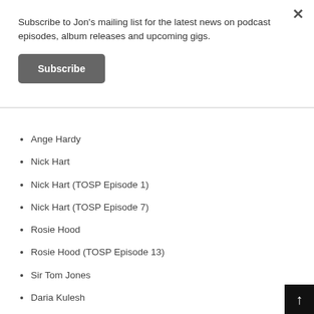Subscribe to Jon's mailing list for the latest news on podcast episodes, album releases and upcoming gigs.
Subscribe
Ange Hardy
Nick Hart
Nick Hart (TOSP Episode 1)
Nick Hart (TOSP Episode 7)
Rosie Hood
Rosie Hood (TOSP Episode 13)
Sir Tom Jones
Daria Kulesh
Lankum
Lisa Knapp
Lisa Knapp (TOSP Episode 8)
Rachael McShane